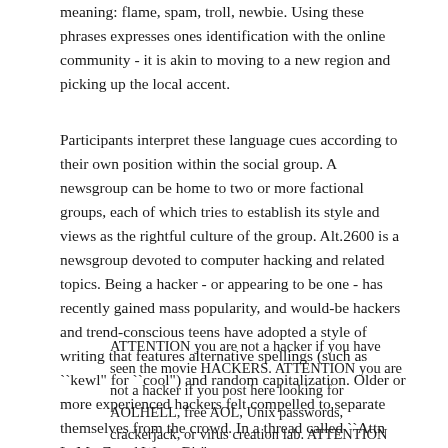meaning: flame, spam, troll, newbie. Using these phrases expresses ones identification with the online community - it is akin to moving to a new region and picking up the local accent.
Participants interpret these language cues according to their own position within the social group. A newsgroup can be home to two or more factional groups, each of which tries to establish its style and views as the rightful culture of the group. Alt.2600 is a newsgroup devoted to computer hacking and related topics. Being a hacker - or appearing to be one - has recently gained mass popularity, and would-be hackers and trend-conscious teens have adopted a style of writing that features alternative spellings (such as ``kewl" for ``cool") and random capitalization. Older or more experienced hackers felt compelled to separate themselves from the crowd. In a thread called ``Attn LaMerZ and Wana-B's", one wrote:
ATTENTION you are not a hacker if you have seen the movie HACKERS. ATTENTION you are not a hacker if you post here looking for AOLHELL, free AOL, Unix passwords, crackerjack, or virus creation lab. ATTENTION you are not a hacker if you HaVE A PrOOBLEM WiTh YOuR CaPS LOckS KeY.